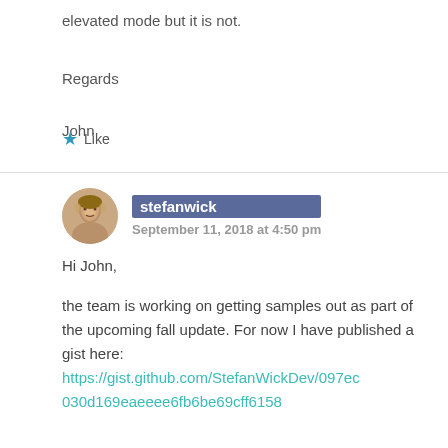elevated mode but it is not.
Regards
John
★ Like
stefanwick
September 11, 2018 at 4:50 pm
Hi John,

the team is working on getting samples out as part of the upcoming fall update. For now I have published a gist here:
https://gist.github.com/StefanWickDev/097ec030d169eaeeee6fb6be69cff6158